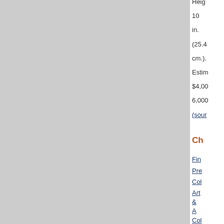Height 10 in. (25.4 cm.). Estimated $4,000–6,000 (source)
Ch
Fin
Pre
Col
Art & A Col
Vis
The
Pri
Pro
of